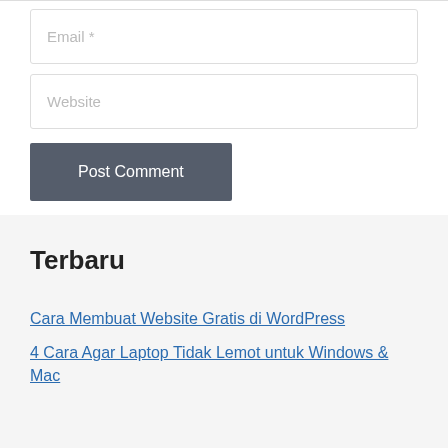Email *
Website
Post Comment
Terbaru
Cara Membuat Website Gratis di WordPress
4 Cara Agar Laptop Tidak Lemot untuk Windows & Mac